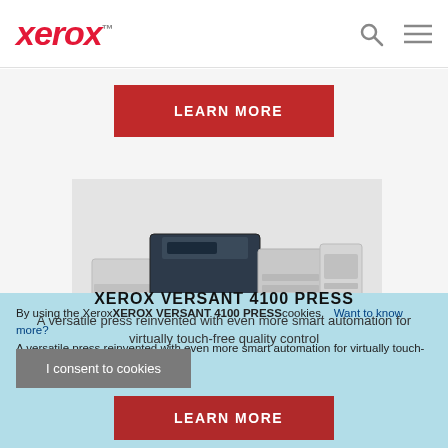xerox™
LEARN MORE
[Figure (photo): Xerox Versant 4100 Press printing machine shown from the front, large industrial digital press in dark blue/navy and white/gray colors]
XEROX VERSANT 4100 PRESS
A versatile press reinvented with even more smart automation for virtually touch-free quality control
By using the Xerox website you accept the use of cookies. Want to know more?
I consent to cookies
LEARN MORE